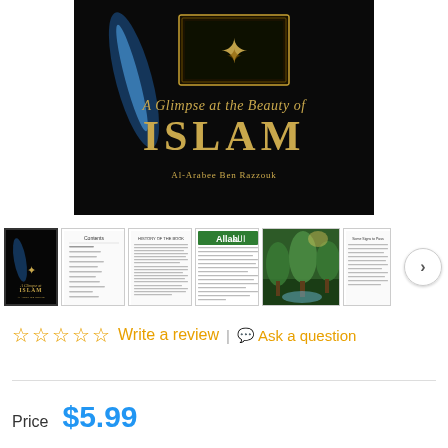[Figure (photo): Book cover of 'A Glimpse at the Beauty of Islam' by Al-Arabee Ben Razzouk. Black cover with golden Islamic geometric art pattern and gold script/serif text.]
[Figure (photo): Row of thumbnail images showing book cover and interior pages including a table of contents, text pages, Allah calligraphy page, nature photo, and another text page. A next arrow button is visible at the right.]
☆ ☆ ☆ ☆ ☆  Write a review  |  💬 Ask a question
Price   $5.99